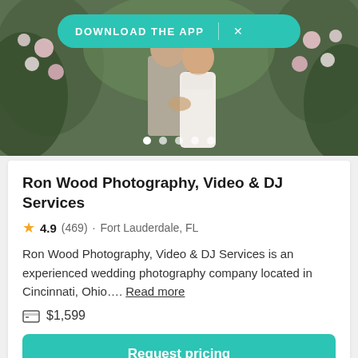[Figure (photo): Wedding couple embracing surrounded by flowers and greenery with a teal 'DOWNLOAD THE APP' banner overlay and carousel dots at the bottom]
Ron Wood Photography, Video & DJ Services
4.9 (469) · Fort Lauderdale, FL
Ron Wood Photography, Video & DJ Services is an experienced wedding photography company located in Cincinnati, Ohio.... Read more
$1,599
Request pricing
Patty Daniels Photography